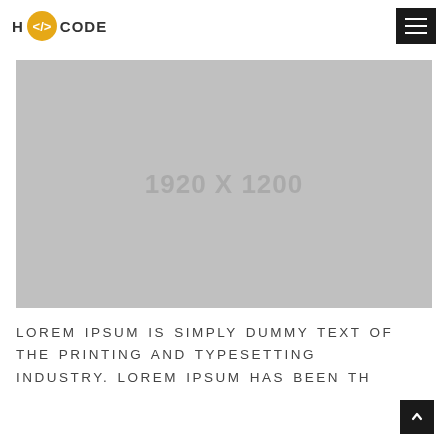H CODE
[Figure (illustration): Gray placeholder image with text '1920 X 1200' centered]
LOREM IPSUM IS SIMPLY DUMMY TEXT OF THE PRINTING AND TYPESETTING INDUSTRY. LOREM IPSUM HAS BEEN THE